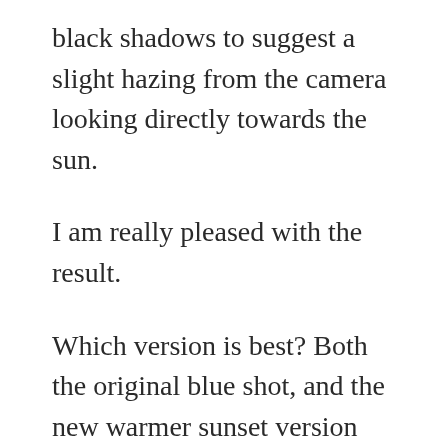black shadows to suggest a slight hazing from the camera looking directly towards the sun.
I am really pleased with the result.
Which version is best? Both the original blue shot, and the new warmer sunset version work well in their own right. It all depends on where and how the shot will be used